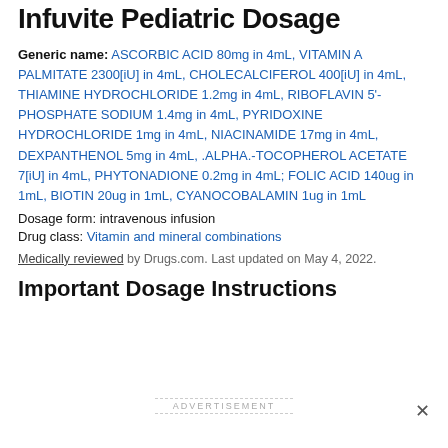Infuvite Pediatric Dosage
Generic name: ASCORBIC ACID 80mg in 4mL, VITAMIN A PALMITATE 2300[iU] in 4mL, CHOLECALCIFEROL 400[iU] in 4mL, THIAMINE HYDROCHLORIDE 1.2mg in 4mL, RIBOFLAVIN 5'-PHOSPHATE SODIUM 1.4mg in 4mL, PYRIDOXINE HYDROCHLORIDE 1mg in 4mL, NIACINAMIDE 17mg in 4mL, DEXPANTHENOL 5mg in 4mL, .ALPHA.-TOCOPHEROL ACETATE 7[iU] in 4mL, PHYTONADIONE 0.2mg in 4mL; FOLIC ACID 140ug in 1mL, BIOTIN 20ug in 1mL, CYANOCOBALAMIN 1ug in 1mL
Dosage form: intravenous infusion
Drug class: Vitamin and mineral combinations
Medically reviewed by Drugs.com. Last updated on May 4, 2022.
Important Dosage Instructions